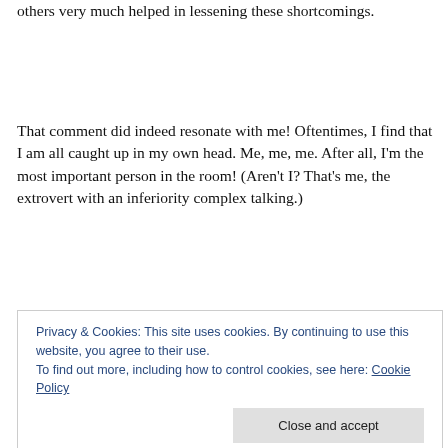others very much helped in lessening these shortcomings.
That comment did indeed resonate with me! Oftentimes, I find that I am all caught up in my own head. Me, me, me. After all, I'm the most important person in the room! (Aren't I? That's me, the extrovert with an inferiority complex talking.)
Service was one of the biggest reasons I started this blog.
Privacy & Cookies: This site uses cookies. By continuing to use this website, you agree to their use.
To find out more, including how to control cookies, see here: Cookie Policy
round and round in my own head. Like a hamster on a